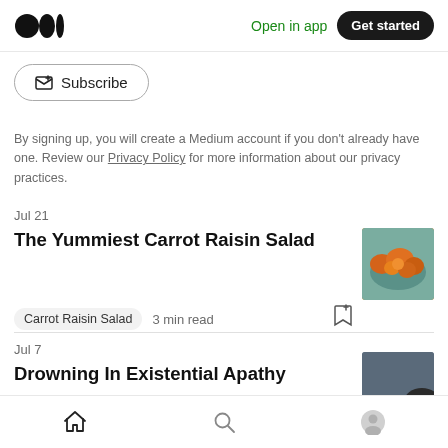Medium logo | Open in app | Get started
Subscribe
By signing up, you will create a Medium account if you don't already have one. Review our Privacy Policy for more information about our privacy practices.
Jul 21
The Yummiest Carrot Raisin Salad
Carrot Raisin Salad  3 min read
[Figure (photo): Bowl of carrot raisin salad with orange vegetables]
Jul 7
Drowning In Existential Apathy
[Figure (photo): Dark hair partially visible, moody image]
Home | Search | Profile navigation icons